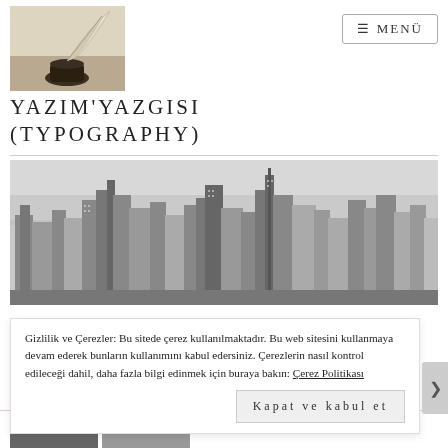[Figure (logo): Feather quill pen and inkwell photograph on aged background]
YAZIM'YAZGISI (TYPOGRAPHY)
[Figure (photo): Black and white aerial cityscape photograph of a dense urban skyline with skyscrapers]
Gizlilik ve Çerezler: Bu sitede çerez kullanılmaktadır. Bu web sitesini kullanmaya devam ederek bunların kullanımını kabul edersiniz. Çerezlerin nasıl kontrol edileceği dahil, daha fazla bilgi edinmek için buraya bakın: Çerez Politikası
Kapat ve kabul et
Reklamlar